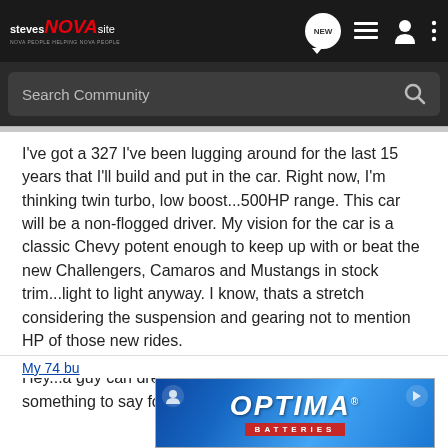STEVES NOVA SITE — NOVA PEOPLE HELPING NOVA PEOPLE
Search Community
I've got a 327 I've been lugging around for the last 15 years that I'll build and put in the car. Right now, I'm thinking twin turbo, low boost...500HP range. This car will be a non-flogged driver. My vision for the car is a classic Chevy potent enough to keep up with or beat the new Challengers, Camaros and Mustangs in stock trim...light to light anyway. I know, thats a stretch considering the suspension and gearing not to mention HP of those new rides.
Hey...a guy can dream can't he? And also...there's something to say for the fact that I built it right? Right!
[Figure (other): Optima Batteries advertisement banner with blue gradient background]
My 74 bu